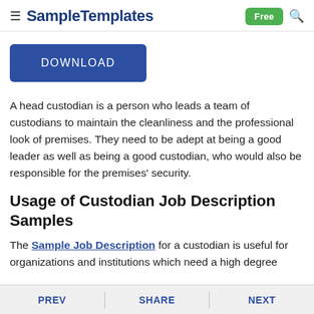≡ SampleTemplates | Free 🔍
[Figure (other): DOWNLOAD button — dark blue rounded rectangle]
A head custodian is a person who leads a team of custodians to maintain the cleanliness and the professional look of premises. They need to be adept at being a good leader as well as being a good custodian, who would also be responsible for the premises' security.
Usage of Custodian Job Description Samples
The Sample Job Description for a custodian is useful for organizations and institutions which need a high degree
PREV   SHARE   NEXT